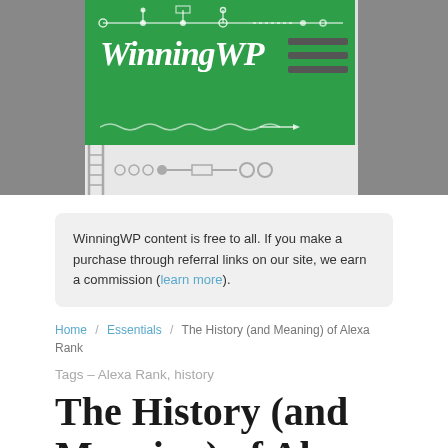[Figure (logo): WinningWP logo on green background with network diagram lines above the text]
WinningWP content is free to all. If you make a purchase through referral links on our site, we earn a commission (learn more).
Home / Essentials / The History (and Meaning) of Alexa Rank
Tags – Alexa Rank, history
The History (and Meaning) of Alexa Rank